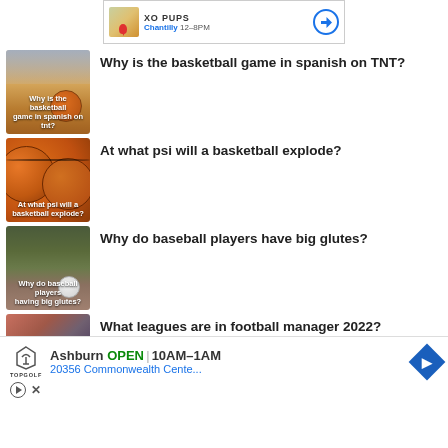[Figure (screenshot): Top advertisement banner for XO PUPS in Chantilly, 12-8PM with map thumbnail and directions arrow]
[Figure (photo): Basketball court thumbnail with text: Why is the basketball game in spanish on tnt?]
Why is the basketball game in spanish on TNT?
[Figure (photo): Close-up of basketballs thumbnail with text: At what psi will a basketball explode?]
At what psi will a basketball explode?
[Figure (photo): Baseball on ground thumbnail with text: Why do baseball players have big glutes?]
Why do baseball players have big glutes?
[Figure (photo): Partial thumbnail for football manager 2022 question, mostly cut off by bottom ad]
What leagues are in football manager 2022?
[Figure (screenshot): Bottom advertisement for Topgolf Ashburn, OPEN 10AM-1AM, 20356 Commonwealth Cente... with directions arrow and ad controls]